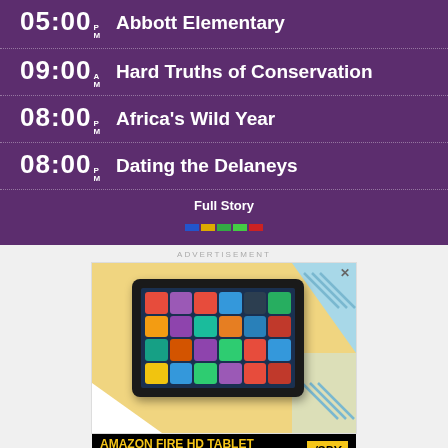05:00 M  Abbott Elementary
09:00 AM  Hard Truths of Conservation
08:00 PM  Africa's Wild Year
08:00 PM  Dating the Delaneys
Full Story
ADVERTISEMENT
[Figure (photo): Amazon Fire HD Tablet advertisement showing the tablet device with apps on screen, colorful background with geometric shapes]
AMAZON FIRE HD TABLET / SPY